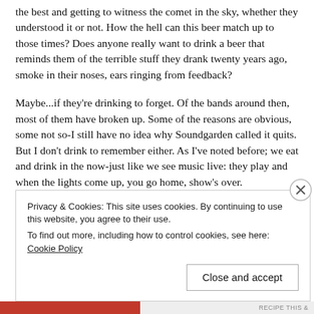the best and getting to witness the comet in the sky, whether they understood it or not. How the hell can this beer match up to those times? Does anyone really want to drink a beer that reminds them of the terrible stuff they drank twenty years ago, smoke in their noses, ears ringing from feedback?
Maybe...if they're drinking to forget. Of the bands around then, most of them have broken up. Some of the reasons are obvious, some not so-I still have no idea why Soundgarden called it quits. But I don't drink to remember either. As I've noted before; we eat and drink in the now-just like we see music live: they play and when the lights come up, you go home, show's over.
Privacy & Cookies: This site uses cookies. By continuing to use this website, you agree to their use.
To find out more, including how to control cookies, see here: Cookie Policy